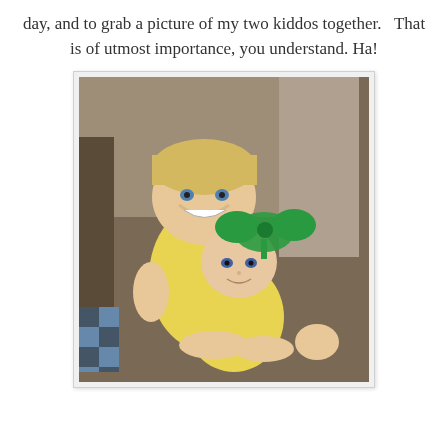day, and to grab a picture of my two kiddos together.   That is of utmost importance, you understand. Ha!
[Figure (photo): Two children sitting on a couch — an older toddler with blonde hair wearing a yellow shirt smiling broadly, holding a baby wearing a yellow outfit and a large green bow on her head.]